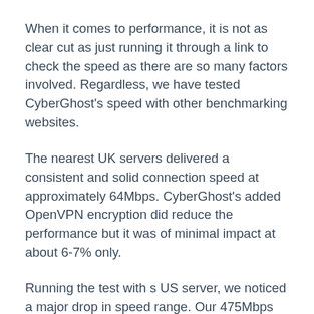When it comes to performance, it is not as clear cut as just running it through a link to check the speed as there are so many factors involved. Regardless, we have tested CyberGhost's speed with other benchmarking websites.
The nearest UK servers delivered a consistent and solid connection speed at approximately 64Mbps. CyberGhost's added OpenVPN encryption did reduce the performance but it was of minimal impact at about 6-7% only.
Running the test with s US server, we noticed a major drop in speed range. Our 475Mbps connection is reduced to only about 125-155Mbps. This is much slower than other big VPN players, but it is still better than most.